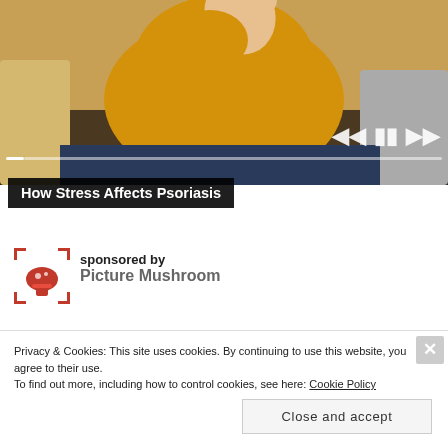[Figure (screenshot): Video player showing a person in a yellow sweater sitting on a couch, with playback controls (skip back, pause, skip forward) and a progress bar visible.]
How Stress Affects Psoriasis
[Figure (logo): Picture Mushroom app logo: a stylized red mushroom inside a red corner-bracket viewfinder frame]
sponsored by
Picture Mushroom
Privacy & Cookies: This site uses cookies. By continuing to use this website, you agree to their use.
To find out more, including how to control cookies, see here: Cookie Policy
Close and accept